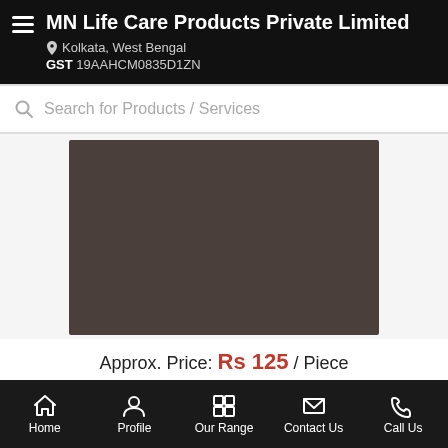MN Life Care Products Private Limited | Kolkata, West Bengal | GST 19AAHCM0835D1ZN
Search for Products / Services
[Figure (photo): Product image placeholder – dark brown/grey rectangle representing a product photo]
Approx. Price: Rs 125 / Piece
Product Details:
Minimum Order Quantity: 100 Piece
Home | Profile | Our Range | Contact Us | Call Us